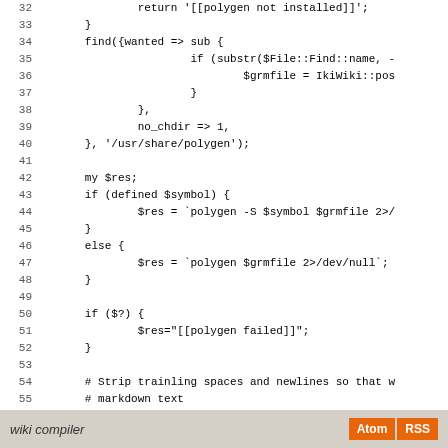[Figure (screenshot): Code listing showing Perl source code, lines 32-60, with line numbers on the left and code on the right. The code involves find(), polygen, $res, and related logic.]
wiki compiler   Atom  RSS